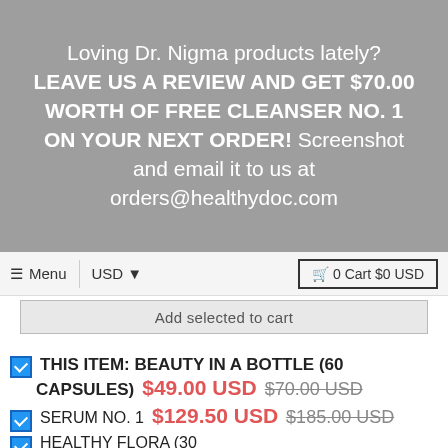Loving Dr. Nigma products lately? LEAVE US A REVIEW AND GET $70.00 WORTH OF FREE CLEANSER NO. 1 ON YOUR NEXT ORDER! Screenshot and email it to us at orders@healthydoc.com
≡ Menu  USD ▾  🛒 0 Cart $0 USD
Add selected to cart
THIS ITEM: BEAUTY IN A BOTTLE (60 CAPSULES) $49.00 USD  $70.00 USD
SERUM NO. 1  $129.50 USD  $185.00 USD
HEALTHY FLORA (30 CAPSULES)  $45.50 USD  $65.00 USD